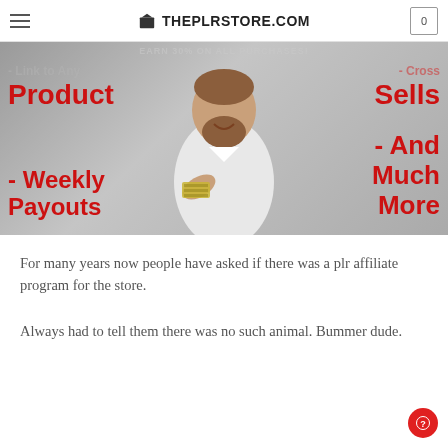THEPLRSTORE.COM
[Figure (photo): Promotional banner image showing a smiling bearded man in a white t-shirt holding cash toward the camera, with red bold text overlaid: Product, Sells, - Weekly Payouts, - And Much More. Top text partially shows EARN 30% ON ALL PURCHASES and link text.]
For many years now people have asked if there was a plr affiliate program for the store.
Always had to tell them there was no such animal. Bummer dude.
CONTINUE READING →